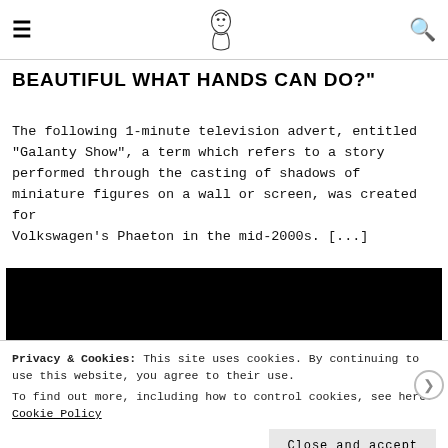[hamburger menu] [logo] [search]
BEAUTIFUL WHAT HANDS CAN DO?"
The following 1-minute television advert, entitled "Galanty Show", a term which refers to a story performed through the casting of shadows of miniature figures on a wall or screen, was created for Volkswagen's Phaeton in the mid-2000s. [...]
[Figure (other): Black video player box]
Privacy & Cookies: This site uses cookies. By continuing to use this website, you agree to their use.
To find out more, including how to control cookies, see here: Cookie Policy
Close and accept